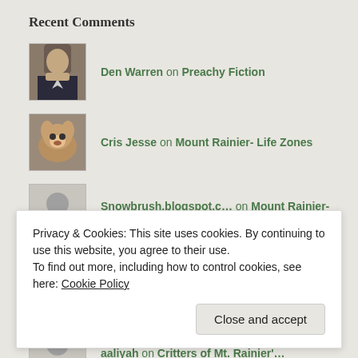Recent Comments
Den Warren on Preachy Fiction
Cris Jesse on Mount Rainier- Life Zones
Snowbrush.blogspot.c... on Mount Rainier- Life Zones
white on Legends of Mount Rainier and t...
aaliyah on Critters of Mt. Rainier'...
Privacy & Cookies: This site uses cookies. By continuing to use this website, you agree to their use.
To find out more, including how to control cookies, see here: Cookie Policy